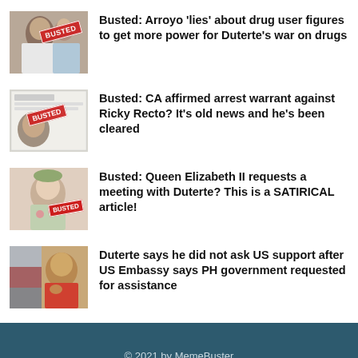Busted: Arroyo ‘lies’ about drug user figures to get more power for Duterte’s war on drugs
Busted: CA affirmed arrest warrant against Ricky Recto? It’s old news and he’s been cleared
Busted: Queen Elizabeth II requests a meeting with Duterte? This is a SATIRICAL article!
Duterte says he did not ask US support after US Embassy says PH government requested for assistance
© 2021 by MemeBuster
About   Disclaimer